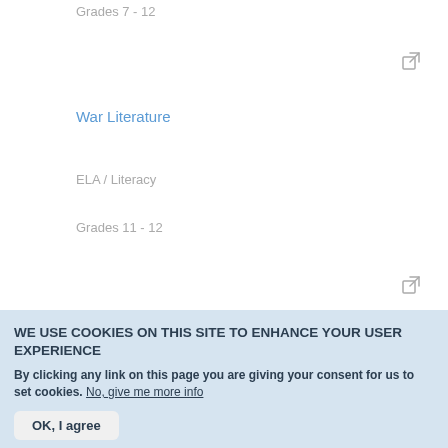Grades 7 - 12
War Literature
ELA / Literacy
Grades 11 - 12
WE USE COOKIES ON THIS SITE TO ENHANCE YOUR USER EXPERIENCE
By clicking any link on this page you are giving your consent for us to set cookies. No, give me more info
OK, I agree